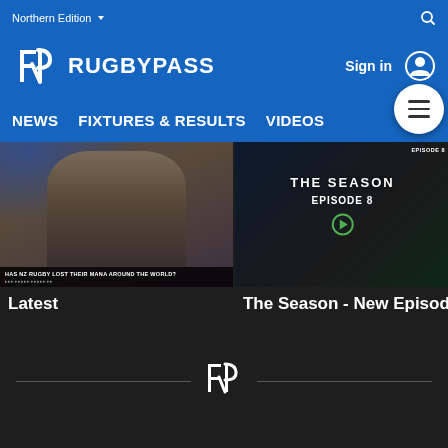Northern Edition
[Figure (screenshot): RugbyPass website header with logo, navigation (NEWS, FIXTURES & RESULTS, VIDEOS), Sign in button, and hamburger menu]
[Figure (screenshot): Video thumbnail showing a man in plaid jacket with text HAS NZ RUGBY LOST THEIR MANA AROUND THE WORLD?]
Latest
[Figure (screenshot): Video thumbnail showing THE SEASON EPISODE 8 title card]
The Season - New Episodes
[Figure (logo): RugbyPass logo in footer divider]